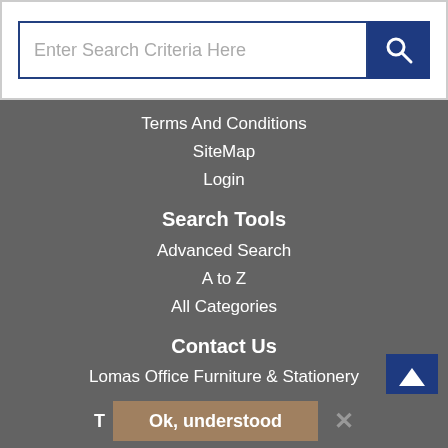[Figure (screenshot): Search bar with text input 'Enter Search Criteria Here' and blue search button with magnifying glass icon]
Terms And Conditions
SiteMap
Login
Search Tools
Advanced Search
A to Z
All Categories
Contact Us
Lomas Office Furniture & Stationery
Regent House
107 King Street
Blackburn
Ok, understood